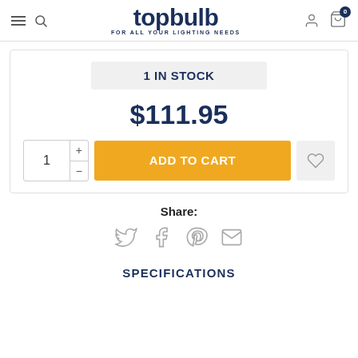topbulb FOR ALL YOUR LIGHTING NEEDS
1 IN STOCK
$111.95
ADD TO CART
Share:
[Figure (infographic): Social share icons: Twitter, Facebook, Pinterest, Email]
SPECIFICATIONS